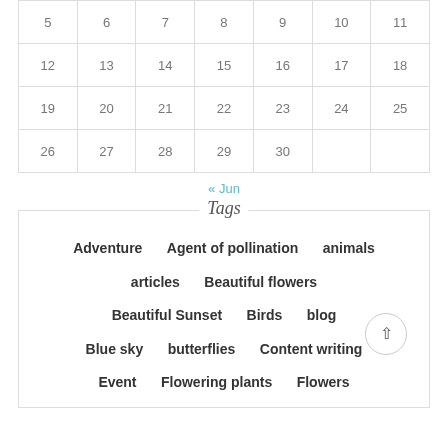| 5 | 6 | 7 | 8 | 9 | 10 | 11 |
| 12 | 13 | 14 | 15 | 16 | 17 | 18 |
| 19 | 20 | 21 | 22 | 23 | 24 | 25 |
| 26 | 27 | 28 | 29 | 30 |  |  |
« Jun
Tags
Adventure
Agent of pollination
animals
articles
Beautiful flowers
Beautiful Sunset
Birds
blog
Blue sky
butterflies
Content writing
Event
Flowering plants
Flowers